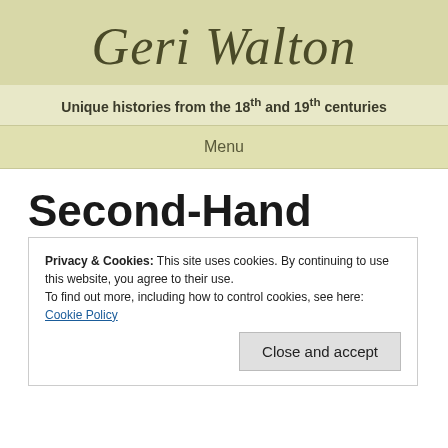Geri Walton
Unique histories from the 18th and 19th centuries
Menu
Second-Hand Umbrella Sellers and Menders
Privacy & Cookies: This site uses cookies. By continuing to use this website, you agree to their use.
To find out more, including how to control cookies, see here: Cookie Policy
Close and accept
sellers and menders were in high demand. When ill-winds blew